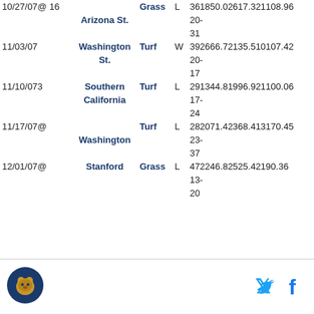| Date | Opponent | Surface | W/L | Stats |
| --- | --- | --- | --- | --- |
| 10/27/07@ 16 | Arizona St. | Grass | L | 361850.02617.321108.96
20-
31 |
| 11/03/07 | Washington St. | Turf | W | 392666.72135.510107.42
20-
17 |
| 11/10/073 | Southern California | Turf | L | 291344.81996.921100.06
17-
24 |
| 11/17/07@ | Washington | Turf | L | 282071.42368.413170.45
23-
37 |
| 12/01/07@ | Stanford | Grass | L | 472246.82525.42190.36
13-
20 |
[Figure (logo): California Golden Bears circular logo]
[Figure (logo): Twitter bird icon]
[Figure (logo): Facebook f icon]